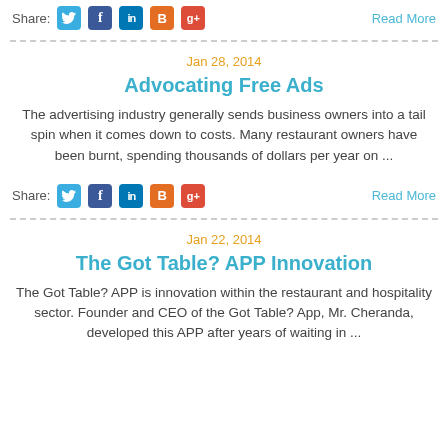Share: [twitter] [facebook] [linkedin] [blogger] [g+]    Read More
Jan 28, 2014
Advocating Free Ads
The advertising industry generally sends business owners into a tail spin when it comes down to costs. Many restaurant owners have been burnt, spending thousands of dollars per year on ...
Share: [twitter] [facebook] [linkedin] [blogger] [g+]    Read More
Jan 22, 2014
The Got Table? APP Innovation
The Got Table? APP is innovation within the restaurant and hospitality sector. Founder and CEO of the Got Table? App, Mr. Cheranda, developed this APP after years of waiting in ...